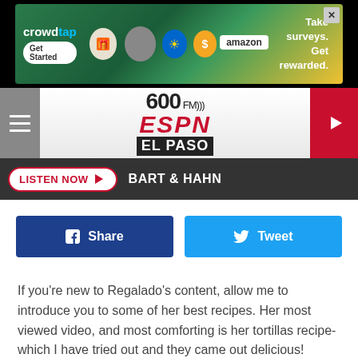[Figure (screenshot): Crowdtap advertisement banner with Amazon logo. Text reads: Take surveys. Get rewarded. Get Started button visible.]
[Figure (logo): 600 FM ESPN El Paso radio station logo with hamburger menu and play button]
LISTEN NOW ▶  BART & HAHN
[Figure (infographic): Facebook Share button (dark blue) and Twitter Tweet button (light blue) side by side]
If you're new to Regalado's content, allow me to introduce you to some of her best recipes. Her most viewed video, and most comforting is her tortillas recipe- which I have tried out and they came out delicious!